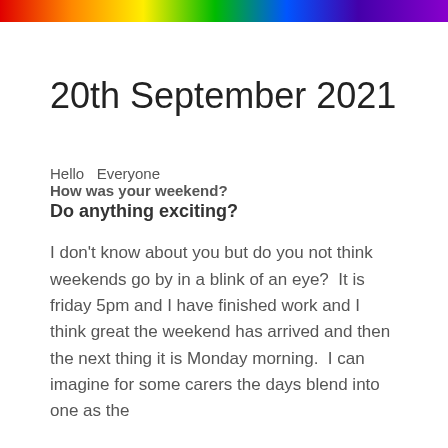[Figure (illustration): Rainbow-colored horizontal banner bar at the top of the page with spectral gradient from red to violet]
20th September 2021
Hello  Everyone
How was your weekend?
Do anything exciting?
I don't know about you but do you not think weekends go by in a blink of an eye?  It is friday 5pm and I have finished work and I think great the weekend has arrived and then the next thing it is Monday morning.  I can imagine for some carers the days blend into one as the